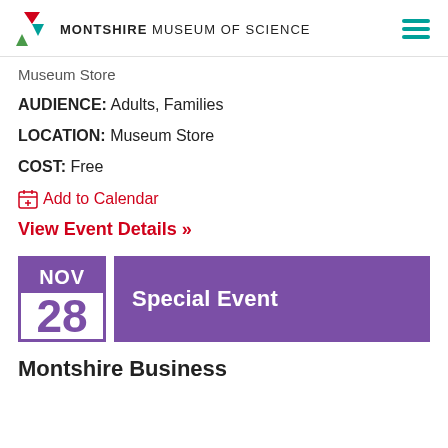MONTSHIRE MUSEUM OF SCIENCE
Museum Store
AUDIENCE: Adults, Families
LOCATION: Museum Store
COST: Free
Add to Calendar
View Event Details >>
NOV 28 Special Event
Montshire Business